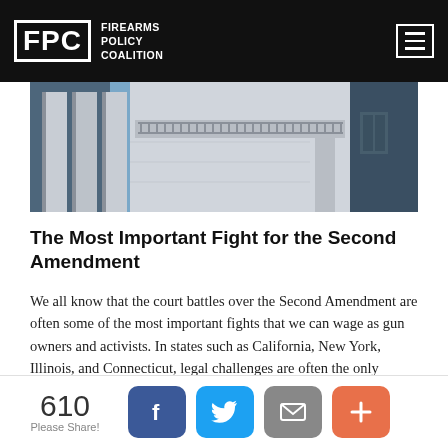FPC Firearms Policy Coalition
[Figure (photo): Exterior of a neoclassical courthouse building with large stone columns and balcony railing.]
The Most Important Fight for the Second Amendment
We all know that the court battles over the Second Amendment are often some of the most important fights that we can wage as gun owners and activists. In states such as California, New York, Illinois, and Connecticut, legal challenges are often the only method of recourse for gun owners that have been hammered with laws and regulations by anti-gun Legislatures and Governors.
Read More>>
610 Please Share!